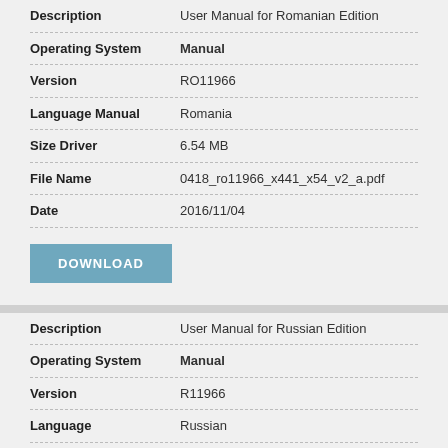| Field | Value |
| --- | --- |
| Description | User Manual for Romanian Edition |
| Operating System | Manual |
| Version | RO11966 |
| Language Manual | Romania |
| Size Driver | 6.54 MB |
| File Name | 0418_ro11966_x441_x54_v2_a.pdf |
| Date | 2016/11/04 |
DOWNLOAD
| Field | Value |
| --- | --- |
| Description | User Manual for Russian Edition |
| Operating System | Manual |
| Version | R11966 |
| Language | Russian |